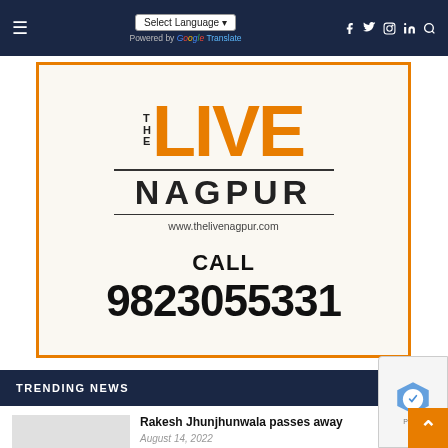☰  Select Language ▾  Powered by Google Translate  [social icons]
[Figure (logo): The Live Nagpur advertisement with logo showing THE LIVE NAGPUR, www.thelivenagpur.com, CALL 9823055331, orange border]
TRENDING NEWS
Rakesh Jhunjhunwala passes away
August 14, 2022